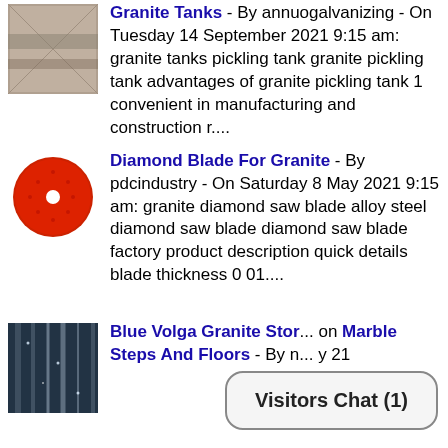Granite Tanks - By annuogalvanizing - On Tuesday 14 September 2021 9:15 am: granite tanks pickling tank granite pickling tank advantages of granite pickling tank 1 convenient in manufacturing and construction r....
Diamond Blade For Granite - By pdcindustry - On Saturday 8 May 2021 9:15 am: granite diamond saw blade alloy steel diamond saw blade diamond saw blade factory product description quick details blade thickness 0 01....
Blue Volga Granite Stor... on Marble Steps And Floors - By n... y 21
Visitors Chat (1)